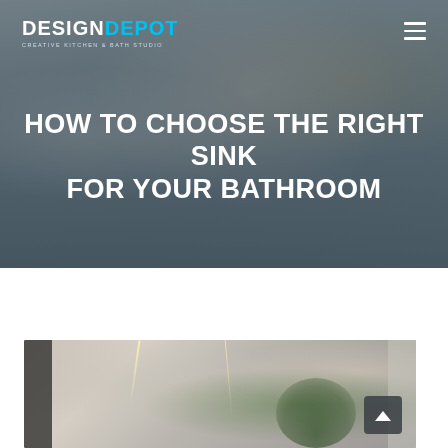[Figure (photo): Hero banner showing a kitchen with white cabinets, marble backsplash, gold/brass pot filler faucet, gas range with multiple burners, and a floral arrangement. Overlaid with semi-transparent dark tint for text legibility.]
DESIGN DEPOT CREATIVE KITCHEN & BATH STUDIO
HOW TO CHOOSE THE RIGHT SINK FOR YOUR BATHROOM
[Figure (photo): Bathroom interior photo showing a modern bathroom with mirrors, black-framed accents, LED lighting strips, and a plant/greenery in the foreground.]